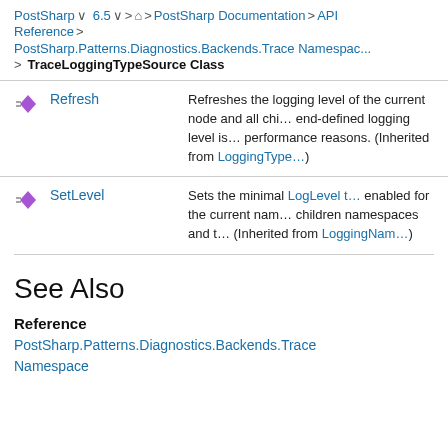PostSharp > 6.5 > 🏠 > PostSharp Documentation > API Reference > PostSharp.Patterns.Diagnostics.Backends.Trace Namespace > TraceLoggingTypeSource Class
|  | Name | Description |
| --- | --- | --- |
| [icon] | Refresh | Refreshes the logging level of the current node and all chi... end-defined logging level is... performance reasons. (Inherited from LoggingType...) |
| [icon] | SetLevel | Sets the minimal LogLevel t... enabled for the current nam... children namespaces and t... (Inherited from LoggingNam...) |
See Also
Reference
PostSharp.Patterns.Diagnostics.Backends.Trace Namespace